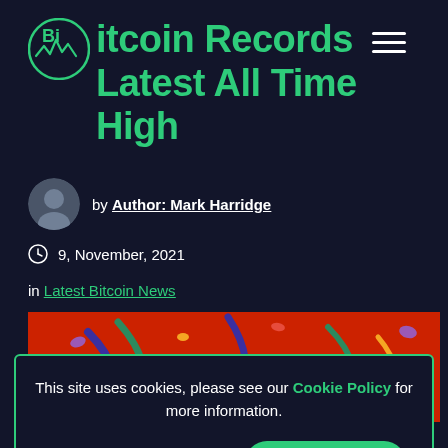Bitcoin Records Latest All Time High
by Author: Mark Harridge
9, November, 2021
in Latest Bitcoin News
[Figure (photo): Colorful festive celebration image with ribbons and confetti on red background]
This site uses cookies, please see our Cookie Policy for more information.
DISABLE
ENABLE